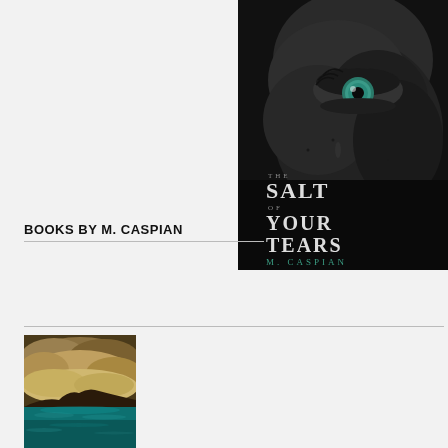[Figure (illustration): Book cover of 'The Salt of Your Tears' by M. Caspian. Dark black-and-white close-up of a face with a striking teal/green eye. Title text overlaid: 'THE SALT OF YOUR TEARS' and 'M. CASPIAN' in teal lettering.]
BOOKS BY M. CASPIAN
[Figure (illustration): Book cover showing a dramatic seascape with golden-brown storm clouds and teal ocean water.]